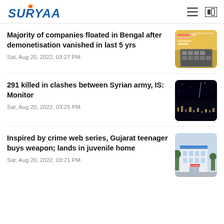SURYAA
Majority of companies floated in Bengal after demonetisation vanished in last 5 yrs
Sat, Aug 20, 2022, 03:27 PM
291 killed in clashes between Syrian army, IS: Monitor
Sat, Aug 20, 2022, 03:25 PM
Inspired by crime web series, Gujarat teenager buys weapon; lands in juvenile home
Sat, Aug 20, 2022, 03:21 PM